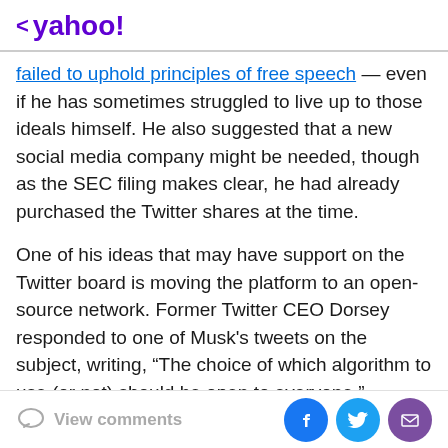< yahoo!
failed to uphold principles of free speech — even if he has sometimes struggled to live up to those ideals himself. He also suggested that a new social media company might be needed, though as the SEC filing makes clear, he had already purchased the Twitter shares at the time.
One of his ideas that may have support on the Twitter board is moving the platform to an open-source network. Former Twitter CEO Dorsey responded to one of Musk's tweets on the subject, writing, “The choice of which algorithm to use (or not) should be open to everyone.” However, Dorsey is expected to leave the Twitter board next month.
View comments